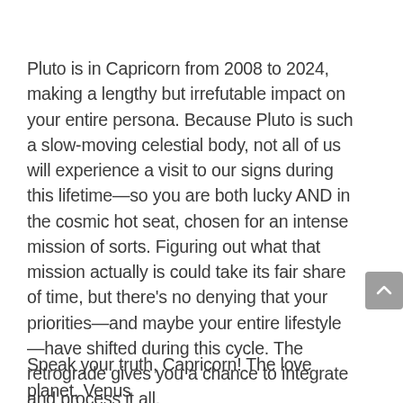Pluto is in Capricorn from 2008 to 2024, making a lengthy but irrefutable impact on your entire persona. Because Pluto is such a slow-moving celestial body, not all of us will experience a visit to our signs during this lifetime—so you are both lucky AND in the cosmic hot seat, chosen for an intense mission of sorts. Figuring out what that mission actually is could take its fair share of time, but there's no denying that your priorities—and maybe your entire lifestyle—have shifted during this cycle. The retrograde gives you a chance to integrate and process it all.
Speak your truth, Capricorn! The love planet, Venus...